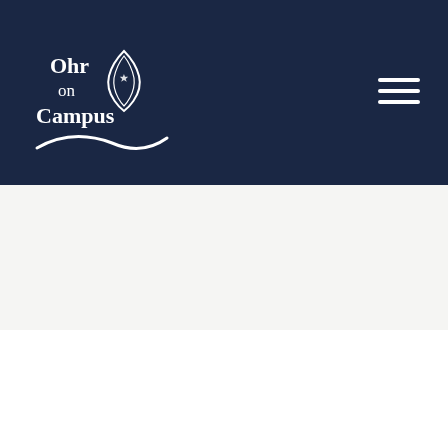Ohr on Campus
[Figure (logo): Ohr on Campus logo — white text and stylized flame/leaf icon on dark navy background]
[Figure (other): Hamburger menu icon (three horizontal white lines) in top right of navy header bar]